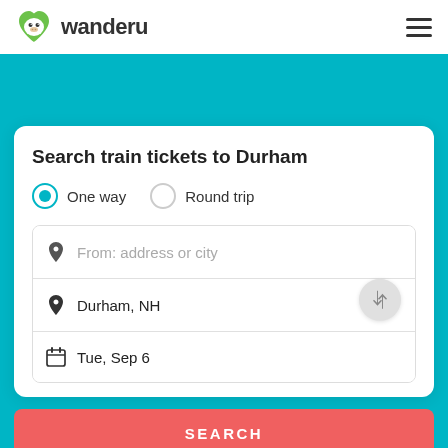[Figure (logo): Wanderu green monkey logo with heart shape]
wanderu
[Figure (other): Hamburger menu icon (three horizontal lines)]
Search train tickets to Durham
One way
Round trip
From: address or city
Durham, NH
Tue, Sep 6
SEARCH